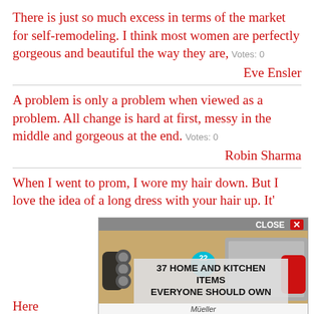There is just so much excess in terms of the market for self-remodeling. I think most women are perfectly gorgeous and beautiful the way they are,  Votes: 0
Eve Ensler
A problem is only a problem when viewed as a problem. All change is hard at first, messy in the middle and gorgeous at the end.  Votes: 0
Robin Sharma
When I went to prom, I wore my hair down. But I love the idea of a long dress with your hair up. It'
Mota
[Figure (screenshot): Advertisement overlay showing kitchen knife sharpener with text '37 HOME AND KITCHEN ITEMS EVERYONE SHOULD OWN', a teal badge with '22', and a CLOSE button at top. Brand 'Mueller' visible at bottom.]
Here